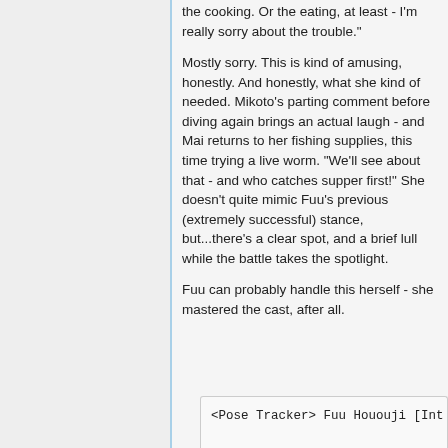the cooking. Or the eating, at least - I'm really sorry about the trouble."
Mostly sorry. This is kind of amusing, honestly. And honestly, what she kind of needed. Mikoto's parting comment before diving again brings an actual laugh - and Mai returns to her fishing supplies, this time trying a live worm. "We'll see about that - and who catches supper first!" She doesn't quite mimic Fuu's previous (extremely successful) stance, but...there's a clear spot, and a brief lull while the battle takes the spotlight.
Fuu can probably handle this herself - she mastered the cast, after all.
<Pose Tracker> Fuu Hououji [Int